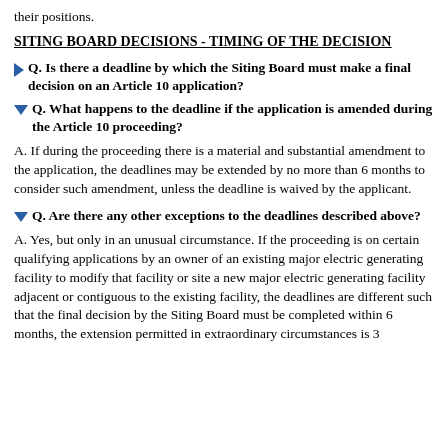their positions.
SITING BOARD DECISIONS - TIMING OF THE DECISION
Q. Is there a deadline by which the Siting Board must make a final decision on an Article 10 application?
Q. What happens to the deadline if the application is amended during the Article 10 proceeding?
A. If during the proceeding there is a material and substantial amendment to the application, the deadlines may be extended by no more than 6 months to consider such amendment, unless the deadline is waived by the applicant.
Q. Are there any other exceptions to the deadlines described above?
A. Yes, but only in an unusual circumstance. If the proceeding is on certain qualifying applications by an owner of an existing major electric generating facility to modify that facility or site a new major electric generating facility adjacent or contiguous to the existing facility, the deadlines are different such that the final decision by the Siting Board must be completed within 6 months, the extension permitted in extraordinary circumstances is 3